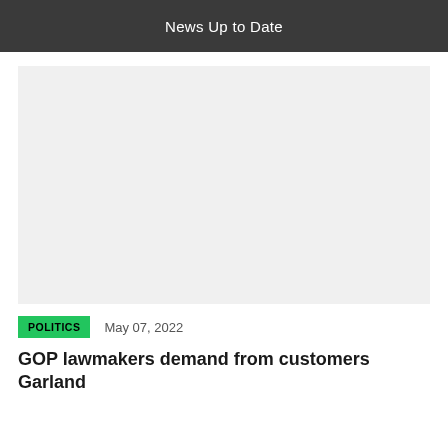News Up to Date
[Figure (photo): Large image placeholder with light gray background]
POLITICS   May 07, 2022
GOP lawmakers demand from customers Garland